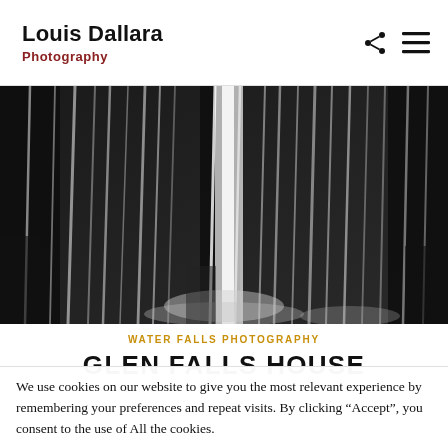Louis Dallara Photography
[Figure (photo): Black and white close-up photograph of a waterfall with streaking water motion blur over rocks]
WATER FALLS PHOTOGRAPHY
GLEN FALLS HOUSE
We use cookies on our website to give you the most relevant experience by remembering your preferences and repeat visits. By clicking “Accept”, you consent to the use of All the cookies.